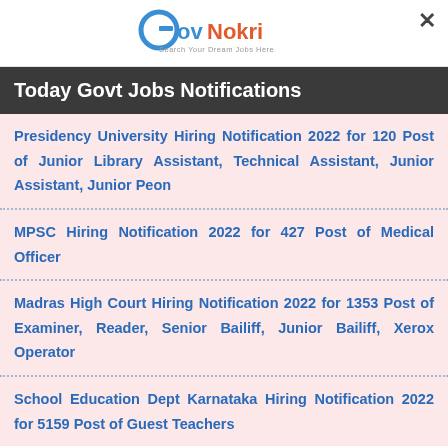GovNokri - Search Your Dream Jobs Here
Today Govt Jobs Notifications
Presidency University Hiring Notification 2022 for 120 Post of Junior Library Assistant, Technical Assistant, Junior Assistant, Junior Peon
MPSC Hiring Notification 2022 for 427 Post of Medical Officer
Madras High Court Hiring Notification 2022 for 1353 Post of Examiner, Reader, Senior Bailiff, Junior Bailiff, Xerox Operator
School Education Dept Karnataka Hiring Notification 2022 for 5159 Post of Guest Teachers